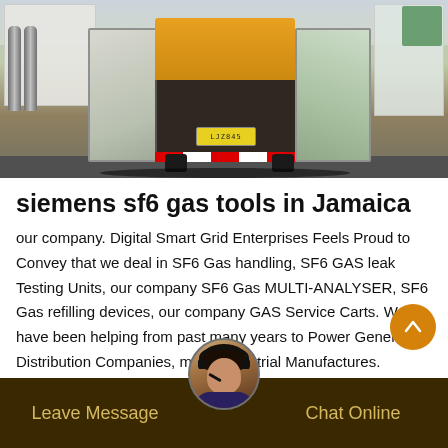[Figure (photo): A yellow service truck with rear doors open, showing equipment inside, parked near a building. Gas cylinders visible on the left side.]
siemens sf6 gas tools in Jamaica
our company. Digital Smart Grid Enterprises Feels Proud to Convey that we deal in SF6 Gas handling, SF6 GAS leak Testing Units, our company SF6 Gas MULTI-ANALYSER, SF6 Gas refilling devices, our company GAS Service Carts. We have been helping from past many years to Power Generation Distribution Companies, many Industrial Manufactures.
Leave Message   Chat Online